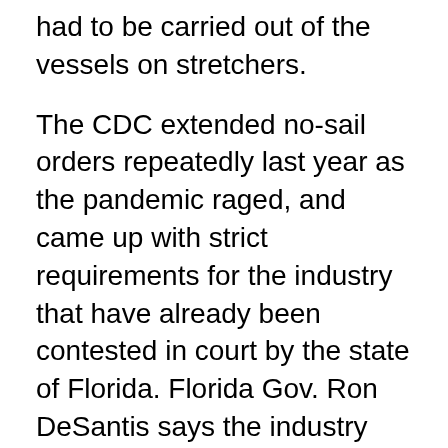had to be carried out of the vessels on stretchers.
The CDC extended no-sail orders repeatedly last year as the pandemic raged, and came up with strict requirements for the industry that have already been contested in court by the state of Florida. Florida Gov. Ron DeSantis says the industry generates billions for the state's economy.
On Saturday, officials at Port Everglades in Fort Lauderdale said only that port lost more than $30 million in revenue in fiscal year 2020 from the cruise shutdown.
During that hiatus, Carnival, Norwegian and Royal Caribbean, the three largest cruise